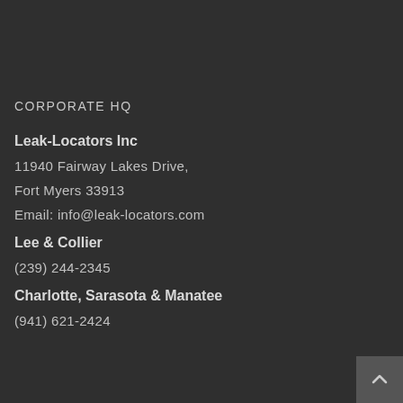CORPORATE HQ
Leak-Locators Inc
11940 Fairway Lakes Drive,
Fort Myers 33913
Email: info@leak-locators.com
Lee & Collier
(239) 244-2345
Charlotte, Sarasota & Manatee
(941) 621-2424